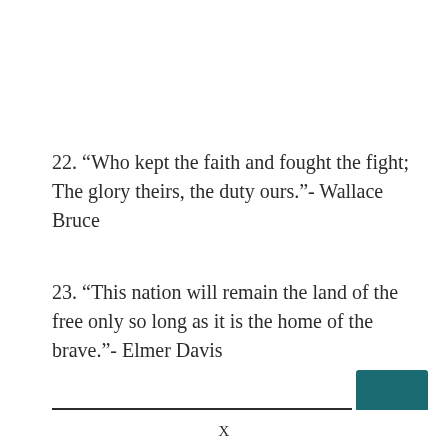22. “Who kept the faith and fought the fight; The glory theirs, the duty ours.”- Wallace Bruce
23. “This nation will remain the land of the free only so long as it is the home of the brave.”- Elmer Davis
X